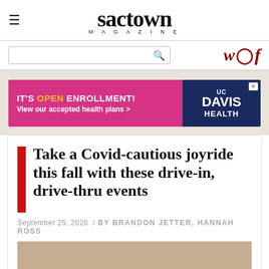sactown MAGAZINE
[Figure (logo): Sactown Magazine logo with hamburger menu icon]
[Figure (screenshot): Search bar with magnifying glass icon and social media icons (Twitter, Instagram, Facebook) in dark red]
[Figure (infographic): UC Davis Health advertisement: IT'S OPEN ENROLLMENT! View our accepted health plans > on pink/magenta background with UC Davis Health logo on navy blue background]
Take a Covid-cautious joyride this fall with these drive-in, drive-thru events
September 25, 2020 / BY BRANDON JETTER, HANNAH ROSS
[Figure (photo): Partial photo with tan/beige background color visible at bottom of page]